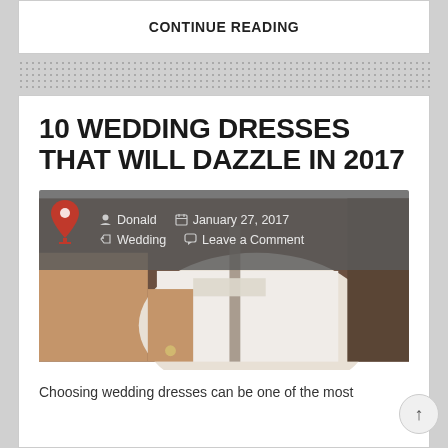CONTINUE READING
10 WEDDING DRESSES THAT WILL DAZZLE IN 2017
[Figure (photo): Wedding dress photo with metadata overlay showing author Donald, date January 27 2017, category Wedding, and Leave a Comment link]
Choosing wedding dresses can be one of the most